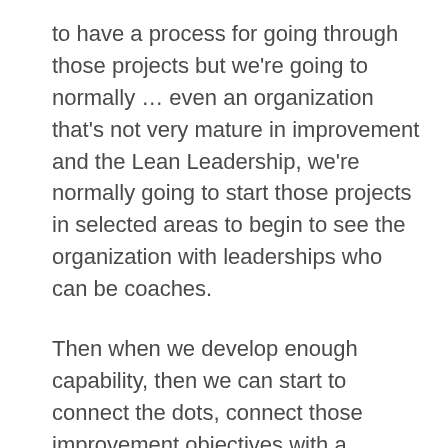to have a process for going through those projects but we're going to normally … even an organization that's not very mature in improvement and the Lean Leadership, we're normally going to start those projects in selected areas to begin to see the organization with leaderships who can be coaches.
Then when we develop enough capability, then we can start to connect the dots, connect those improvement objectives with a broader plan for the business. So the issue is that few organizations have the mature leadership with the capabilities needed to make Hoshin Kanri right. They lack the mature leadership to develop a well articulated strategy. They lack the ability to develop a clear business plan that goes beyond financial plans. And then the organization lacks the ability to translate those desired outcomes into